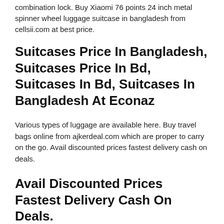combination lock. Buy Xiaomi 76 points 24 inch metal spinner wheel luggage suitcase in bangladesh from cellsii.com at best price.
Suitcases Price In Bangladesh, Suitcases Price In Bd, Suitcases In Bd, Suitcases In Bangladesh At Econaz
Various types of luggage are available here. Buy travel bags online from ajkerdeal.com which are proper to carry on the go. Avail discounted prices fastest delivery cash on deals.
Avail Discounted Prices Fastest Delivery Cash On Deals.